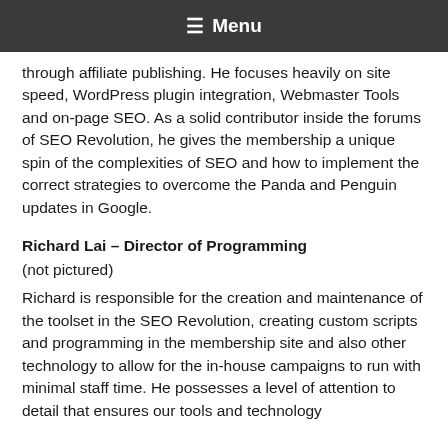☰ Menu
through affiliate publishing. He focuses heavily on site speed, WordPress plugin integration, Webmaster Tools and on-page SEO. As a solid contributor inside the forums of SEO Revolution, he gives the membership a unique spin of the complexities of SEO and how to implement the correct strategies to overcome the Panda and Penguin updates in Google.
Richard Lai – Director of Programming
(not pictured)
Richard is responsible for the creation and maintenance of the toolset in the SEO Revolution, creating custom scripts and programming in the membership site and also other technology to allow for the in-house campaigns to run with minimal staff time. He possesses a level of attention to detail that ensures our tools and technology